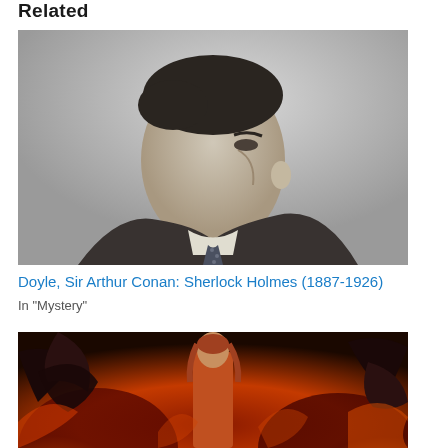Related
[Figure (photo): Black and white photograph of Sir Arthur Conan Doyle in profile, wearing a dark suit and tie, looking to the upper left.]
Doyle, Sir Arthur Conan: Sherlock Holmes (1887-1926)
In "Mystery"
[Figure (illustration): Fantasy illustration showing a young woman with auburn hair standing in front of a large dark dragon amid flames and fire, in warm red and orange tones.]